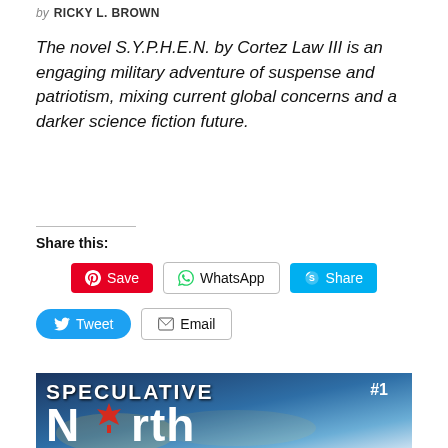by RICKY L. BROWN
The novel S.Y.P.H.E.N. by Cortez Law III is an engaging military adventure of suspense and patriotism, mixing current global concerns and a darker science fiction future.
Share this:
[Figure (screenshot): Social share buttons: Pinterest Save, WhatsApp, Skype Share buttons in a row; Tweet and Email buttons in second row]
[Figure (illustration): Book cover image for Speculative North #1 - shows bold white text 'SPECULATIVE North' with a red maple leaf replacing the letter 'o' in North, against a blue cityscape/winter background]